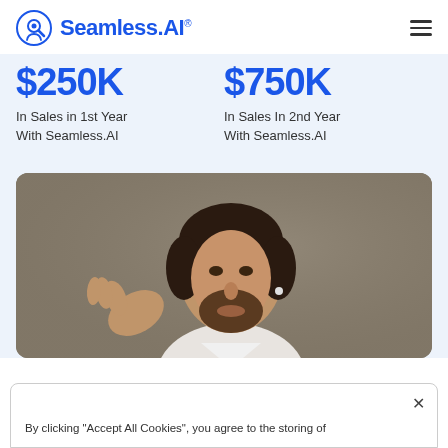Seamless.AI
$250K In Sales in 1st Year With Seamless.AI
$750K In Sales In 2nd Year With Seamless.AI
[Figure (photo): A bearded man in a white shirt gesturing with his hand, speaking, photographed against a brown/beige background.]
By clicking "Accept All Cookies", you agree to the storing of